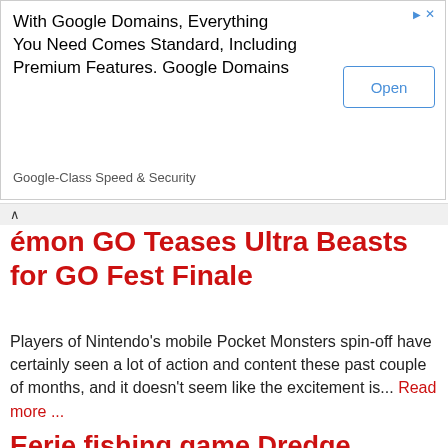[Figure (other): Google Domains advertisement banner with 'Open' button and Google Play icon]
With Google Domains, Everything You Need Comes Standard, Including Premium Features. Google Domains
Google-Class Speed & Security
Pokémon GO Teases Ultra Beasts for GO Fest Finale
Players of Nintendo's mobile Pocket Monsters spin-off have certainly seen a lot of action and content these past couple of months, and it doesn't seem like the excitement is... Read more ...
Eerie fishing game Dredge coming to PC and consoles in 2023
I've been more than a little into fishing games lately. This newfound fishing obsession signifies a real tectonic shift in my gaming interests, but hey, you go where the world... Read more ...
Contact Game Mag · Tags · RSS Feed · Free Registration · Log in